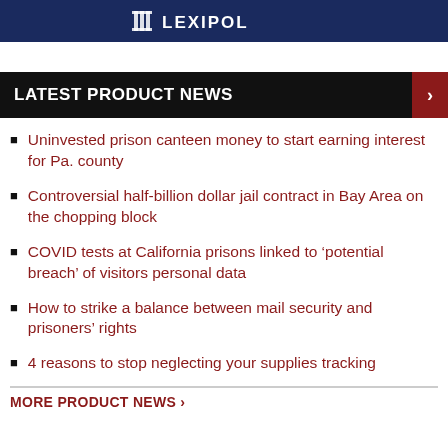[Figure (logo): Lexipol logo banner with dark blue background and white text/icon]
LATEST PRODUCT NEWS
Uninvested prison canteen money to start earning interest for Pa. county
Controversial half-billion dollar jail contract in Bay Area on the chopping block
COVID tests at California prisons linked to ‘potential breach’ of visitors personal data
How to strike a balance between mail security and prisoners’ rights
4 reasons to stop neglecting your supplies tracking
MORE PRODUCT NEWS ›